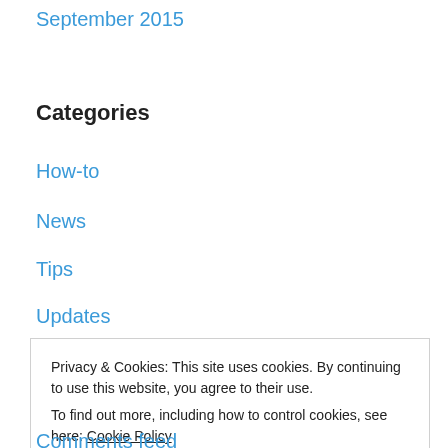September 2015
Categories
How-to
News
Tips
Updates
Meta
Privacy & Cookies: This site uses cookies. By continuing to use this website, you agree to their use.
To find out more, including how to control cookies, see here: Cookie Policy
Close and accept
Comments feed